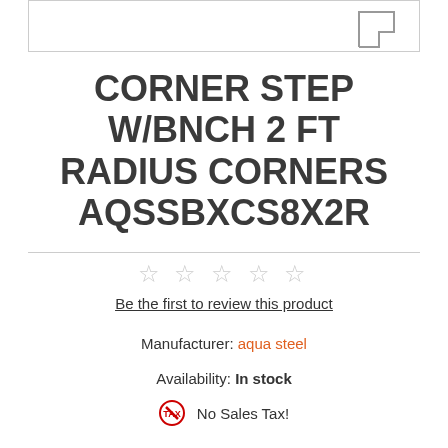[Figure (illustration): Partial product image/diagram at top of page, showing a corner shape silhouette at top-right]
CORNER STEP W/BNCH 2 FT RADIUS CORNERS AQSSBXCS8X2R
☆ ☆ ☆ ☆ ☆
Be the first to review this product
Manufacturer: aqua steel
Availability: In stock
No Sales Tax!
SKU: AQSSBXCS8X2R
$2,931.09